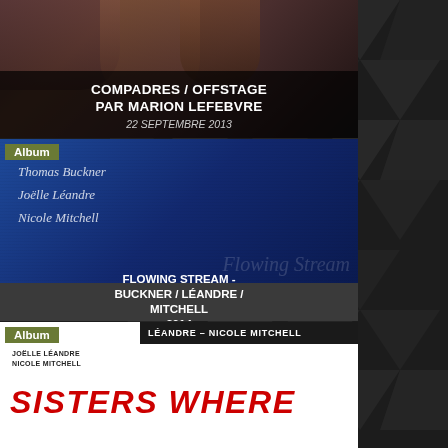[Figure (screenshot): Website/app screenshot showing a list of music albums and concert entries with cover images. Dark background with geometric triangle pattern on the right. Left column shows cards: 1) COMPADRES/OFFSTAGE PAR MARION LEFEBVRE, 22 SEPTEMBRE 2013; 2) Album - FLOWING STREAM - BUCKNER/LÉANDRE/MITCHELL 2014 (blue album cover); 3) Album - SISTERS WHERE - JOELLE LÉANDRE & NICOLE MITCHELL 2014 (white album cover with red SISTERS WHERE text); 4) Album - Joëlle Léandre & Pascal Contet album with large '3' numeral (partially visible at bottom).]